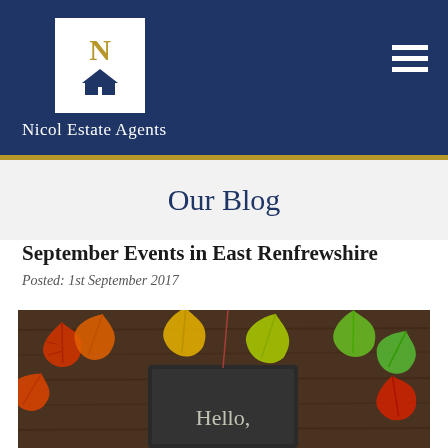[Figure (logo): Nicol Estate Agents logo: white box with gold N and dark house silhouette, on navy blue header bar with hamburger menu icon]
Nicol Estate Agents
Our Blog
September Events in East Renfrewshire
Posted: 1st September 2017
[Figure (photo): Autumn maple leaves in red, yellow, and green colors arranged on a dark wooden surface with a chalkboard reading 'Hello']